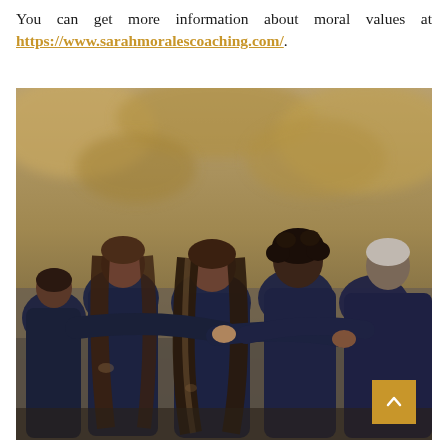You can get more information about moral values at https://www.sarahmoralescoaching.com/.
[Figure (photo): A group of people in navy blue t-shirts with their arms around each other in a huddle, viewed from behind, with a blurred natural outdoor background. A gold scroll-to-top button is visible in the bottom-right corner.]